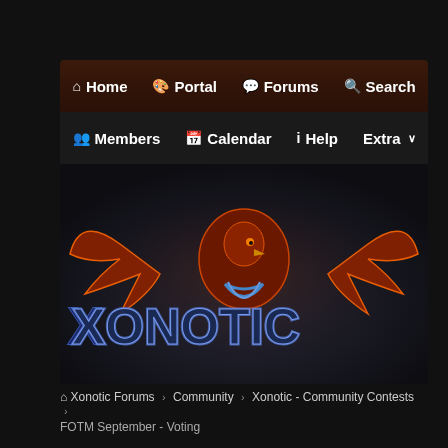Home  Portal  Forums  Search
Members  Calendar  Help  Extra
[Figure (logo): Xonotic game logo — orange/red dragon-like bird spreading wings over blue metallic XONOTIC text, on dark gradient background]
Xonotic Forums > Community > Xonotic - Community Contests > FOTM September - Voting